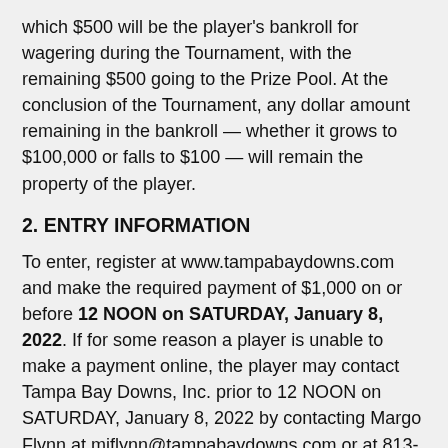which $500 will be the player's bankroll for wagering during the Tournament, with the remaining $500 going to the Prize Pool. At the conclusion of the Tournament, any dollar amount remaining in the bankroll — whether it grows to $100,000 or falls to $100 — will remain the property of the player.
2. ENTRY INFORMATION
To enter, register at www.tampabaydowns.com and make the required payment of $1,000 on or before 12 NOON on SATURDAY, January 8, 2022. If for some reason a player is unable to make a payment online, the player may contact Tampa Bay Downs, Inc. prior to 12 NOON on SATURDAY, January 8, 2022 by contacting Margo Flynn at mjflynn@tampabaydowns.com or at 813-855-4401 ext. 1368 to make a payment.
3. WAGERING FORMAT
On home port Tampa Bay Downs on Saturday, January